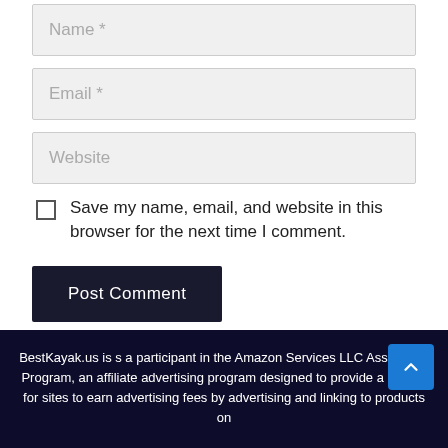Name *
Email *
Website
Save my name, email, and website in this browser for the next time I comment.
Post Comment
BestKayak.us is s a participant in the Amazon Services LLC Associates Program, an affiliate advertising program designed to provide a means for sites to earn advertising fees by advertising and linking to products on